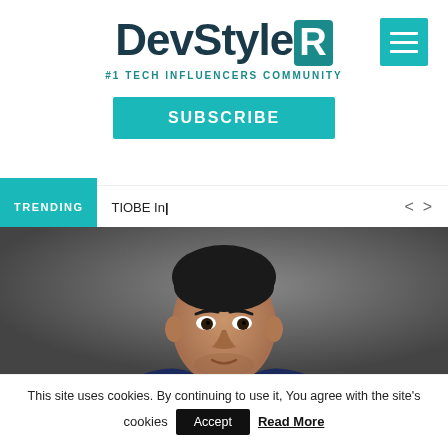DevStyleR — #1 TECH INFLUENCERS COMMUNITY
SUBSCRIBE
TRENDING  TIOBE In|
[Figure (photo): Professional headshot of a man in a dark suit against a grey background]
This site uses cookies. By continuing to use it, You agree with the site's cookies  Accept  Read More